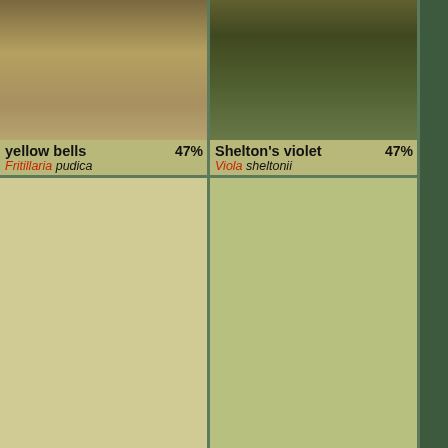[Figure (photo): Photo of yellow bells plant (Fritillaria pudica) among rocks and soil]
yellow bells 47%
Fritillaria pudica
[Figure (photo): Photo of Shelton's violet (Viola sheltonii) with green leaves]
Shelton's violet 47%
Viola sheltonii
[Figure (photo): Placeholder/no image for Cascade mountain ash]
Cascade mountain ash 47%
Sorbus scopulina
[Figure (photo): Placeholder/no image for wild ginger]
wild ginger 47%
Asarum caudatum
[Figure (photo): Placeholder/no image for longtube iris]
longtube iris 47%
[Figure (photo): Placeholder/no image for pioneer violet]
pioneer violet 47%